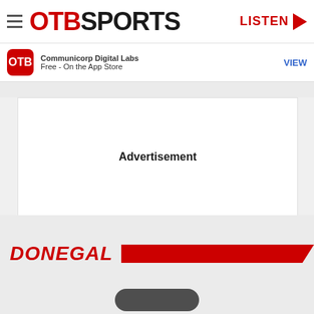OTB SPORTS
Communicorp Digital Labs
Free - On the App Store
VIEW
Advertisement
DONEGAL